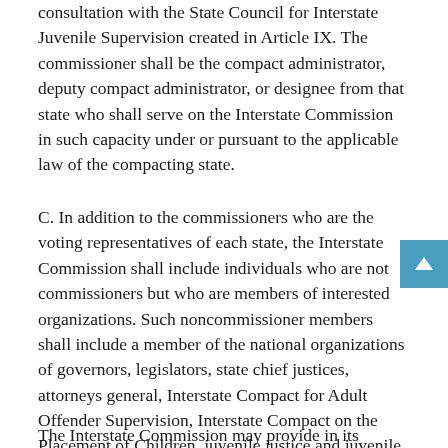consultation with the State Council for Interstate Juvenile Supervision created in Article IX. The commissioner shall be the compact administrator, deputy compact administrator, or designee from that state who shall serve on the Interstate Commission in such capacity under or pursuant to the applicable law of the compacting state.
C. In addition to the commissioners who are the voting representatives of each state, the Interstate Commission shall include individuals who are not commissioners but who are members of interested organizations. Such noncommissioner members shall include a member of the national organizations of governors, legislators, state chief justices, attorneys general, Interstate Compact for Adult Offender Supervision, Interstate Compact on the Placement of Children, juvenile justice and juvenile corrections officials, and crime victims. All noncommissioner members of the Interstate Commission shall be ex officio (nonvoting) members. The Interstate Commission may provide in its bylaws for...